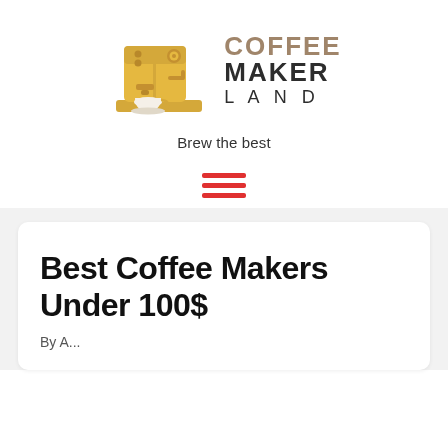[Figure (logo): Coffee Maker Land logo: yellow/gold espresso machine illustration with text 'COFFEE MAKER LAND' to the right]
Brew the best
[Figure (other): Hamburger menu icon with three red horizontal lines]
Best Coffee Makers Under 100$
By A...